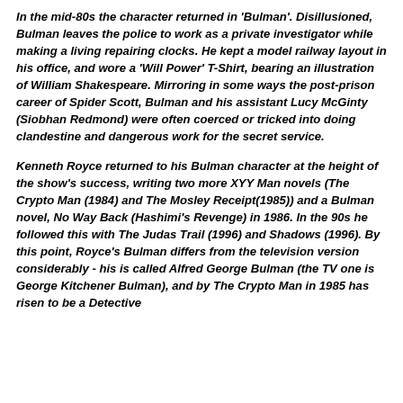In the mid-80s the character returned in 'Bulman'. Disillusioned, Bulman leaves the police to work as a private investigator while making a living repairing clocks. He kept a model railway layout in his office, and wore a 'Will Power' T-Shirt, bearing an illustration of William Shakespeare. Mirroring in some ways the post-prison career of Spider Scott, Bulman and his assistant Lucy McGinty (Siobhan Redmond) were often coerced or tricked into doing clandestine and dangerous work for the secret service.
Kenneth Royce returned to his Bulman character at the height of the show's success, writing two more XYY Man novels (The Crypto Man (1984) and The Mosley Receipt(1985)) and a Bulman novel, No Way Back (Hashimi's Revenge) in 1986. In the 90s he followed this with The Judas Trail (1996) and Shadows (1996). By this point, Royce's Bulman differs from the television version considerably - his is called Alfred George Bulman (the TV one is George Kitchener Bulman), and by The Crypto Man in 1985 has risen to be a Detective